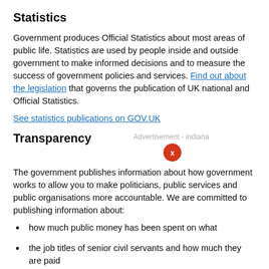Statistics
Government produces Official Statistics about most areas of public life. Statistics are used by people inside and outside government to make informed decisions and to measure the success of government policies and services. Find out about the legislation that governs the publication of UK national and Official Statistics.
See statistics publications on GOV.UK
Transparency
The government publishes information about how government works to allow you to make politicians, public services and public organisations more accountable. We are committed to publishing information about:
how much public money has been spent on what
the job titles of senior civil servants and how much they are paid
how the government is doing against its objectives